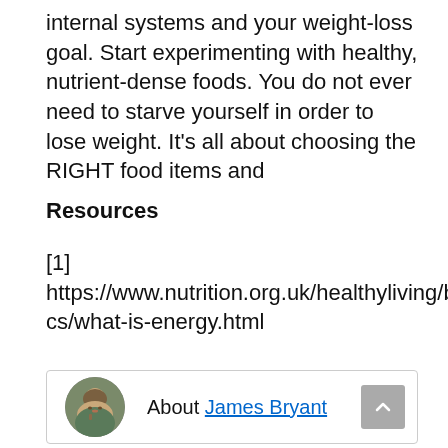internal systems and your weight-loss goal. Start experimenting with healthy, nutrient-dense foods. You do not ever need to starve yourself in order to lose weight. It's all about choosing the RIGHT food items and
Resources
[1] https://www.nutrition.org.uk/healthyliving/basics/what-is-energy.html
[Figure (other): Author box with circular photo of James Bryant and a scroll-to-top button]